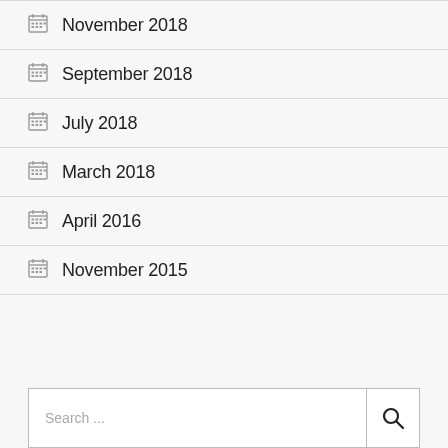November 2018
September 2018
July 2018
March 2018
April 2016
November 2015
Search ...